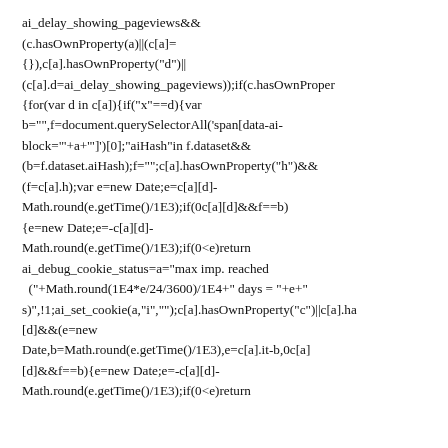ai_delay_showing_pageviews&&(c.hasOwnProperty(a)||(c[a]={}),c[a].hasOwnProperty("d")||(c[a].d=ai_delay_showing_pageviews));if(c.hasOwnProperty{for(var d in c[a]){if("x"==d){var b="",f=document.querySelectorAll('span[data-ai-block="'+a+'"]')[0];"aiHash"in f.dataset&&(b=f.dataset.aiHash);f="";c[a].hasOwnProperty("h")&&(f=c[a].h);var e=new Date;e=c[a][d]-Math.round(e.getTime()/1E3);if(0c[a][d]&&f==b){e=new Date;e=-c[a][d]-Math.round(e.getTime()/1E3);if(0<e)return ai_debug_cookie_status=a="max imp. reached ("+Math.round(1E4*e/24/3600)/1E4+" days = "+e+" s)",!1;ai_set_cookie(a,"i","");c[a].hasOwnProperty("c")||c[a].ha[d]&&(e=new Date,b=Math.round(e.getTime()/1E3),e=c[a].it-b,0c[a][d]&&f==b){e=new Date;e=-c[a][d]-Math.round(e.getTime()/1E3);if(0<e)return